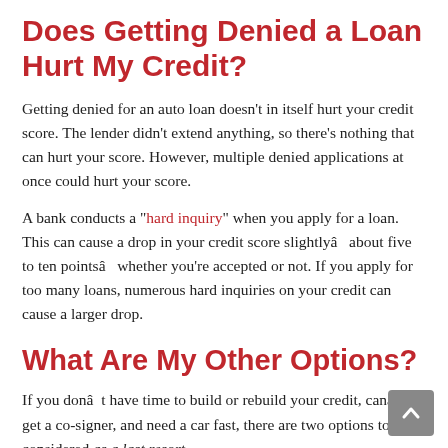Does Getting Denied a Loan Hurt My Credit?
Getting denied for an auto loan doesn't in itself hurt your credit score. The lender didn't extend anything, so there's nothing that can hurt your score. However, multiple denied applications at once could hurt your score.
A bank conducts a "hard inquiry" when you apply for a loan. This can cause a drop in your credit score slightlyâabout five to ten pointsâwhether you're accepted or not. If you apply for too many loans, numerous hard inquiries on your credit can cause a larger drop.
What Are My Other Options?
If you donât have time to build or rebuild your credit, canât get a co-signer, and need a car fast, there are two options to be considered as a last resort.